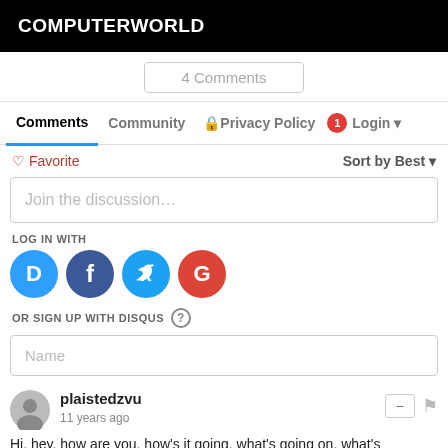COMPUTERWORLD
4 Comments
Comments  Community  Privacy Policy  Login
Favorite  Sort by Best
Join the discussion…
LOG IN WITH
[Figure (other): Social login icons: Disqus (D), Facebook (f), Twitter (bird), Google (G)]
OR SIGN UP WITH DISQUS ?
Name
plaistedzvu
11 years ago
Hi, hey, how are you, how's it going, what's going on, what's